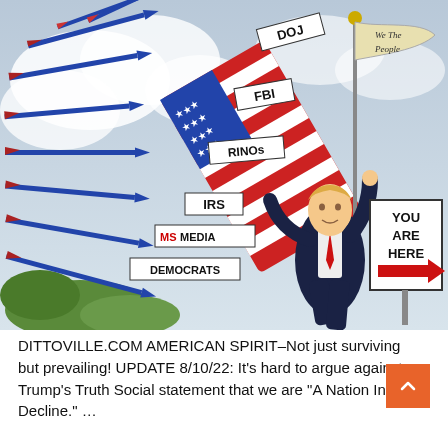[Figure (illustration): Political cartoon showing a Trump-like figure in a dark suit and red tie, holding an American flag shield and a 'We The People' banner flag, deflecting arrows labeled DOJ, FBI, RINOs, IRS, MS MEDIA, and DEMOCRATS. A sign on the right reads 'YOU ARE HERE' with a red arrow pointing right. Background is cloudy sky with green trees at lower left.]
DITTOVILLE.COM AMERICAN SPIRIT–Not just surviving but prevailing! UPDATE 8/10/22: It's hard to argue against Trump's Truth Social statement that we are "A Nation In Decline." ...